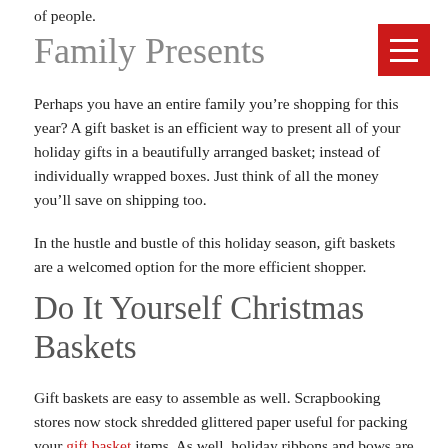of people.
Family Presents
Perhaps you have an entire family you’re shopping for this year? A gift basket is an efficient way to present all of your holiday gifts in a beautifully arranged basket; instead of individually wrapped boxes. Just think of all the money you’ll save on shipping too.
In the hustle and bustle of this holiday season, gift baskets are a welcomed option for the more efficient shopper.
Do It Yourself Christmas Baskets
Gift baskets are easy to assemble as well. Scrapbooking stores now stock shredded glittered paper useful for packing your gift basket items. As well, holiday ribbons and bows are now easier to make with the easy to find